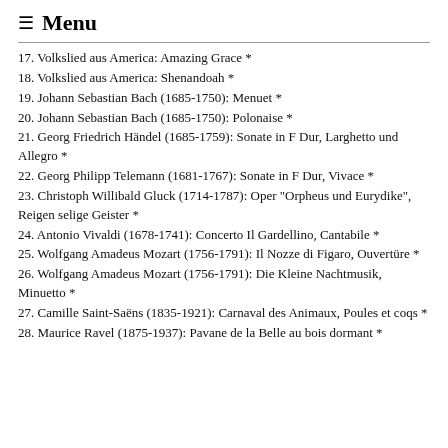≡ Menu
17. Volkslied aus America: Amazing Grace *
18. Volkslied aus America: Shenandoah *
19. Johann Sebastian Bach (1685-1750): Menuet *
20. Johann Sebastian Bach (1685-1750): Polonaise *
21. Georg Friedrich Händel (1685-1759): Sonate in F Dur, Larghetto und Allegro *
22. Georg Philipp Telemann (1681-1767): Sonate in F Dur, Vivace *
23. Christoph Willibald Gluck (1714-1787): Oper "Orpheus und Eurydike", Reigen selige Geister *
24. Antonio Vivaldi (1678-1741): Concerto Il Gardellino, Cantabile *
25. Wolfgang Amadeus Mozart (1756-1791): Il Nozze di Figaro, Ouvertüre *
26. Wolfgang Amadeus Mozart (1756-1791): Die Kleine Nachtmusik, Minuetto *
27. Camille Saint-Saëns (1835-1921): Carnaval des Animaux, Poules et coqs *
28. Maurice Ravel (1875-1937): Pavane de la Belle au bois dormant *